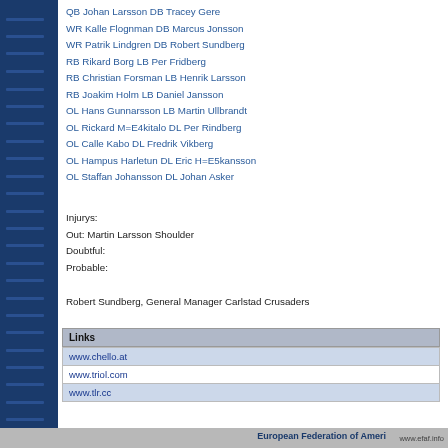QB Johan Larsson DB Tracey Gere
WR Kalle Flognman DB Marcus Jonsson
WR Patrik Lindgren DB Robert Sundberg
RB Rikard Borg LB Per Fridberg
RB Christian Forsman LB Henrik Larsson
RB Joakim Holm LB Daniel Jansson
OL Hans Gunnarsson LB Martin Ullbrandt
OL Rickard M=E4kitalo DL Per Rindberg
OL Calle Kabo DL Fredrik Vikberg
OL Hampus Harletun DL Eric H=E5kansson
OL Staffan Johansson DL Johan Asker
Injurys:
Out: Martin Larsson Shoulder
Doubtful:
Probable:
Robert Sundberg, General Manager Carlstad Crusaders
| Links |
| --- |
| www.chello.at |
| www.triol.com |
| www.tlr.cc |
European Federation of Ameri  www.efaf.info